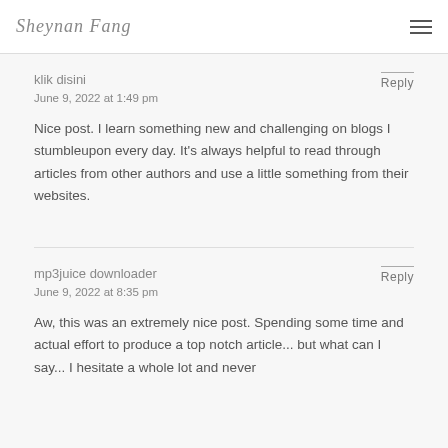Sheynan Fang
klik disini
June 9, 2022 at 1:49 pm
Nice post. I learn something new and challenging on blogs I stumbleupon every day. It’s always helpful to read through articles from other authors and use a little something from their websites.
mp3juice downloader
June 9, 2022 at 8:35 pm
Aw, this was an extremely nice post. Spending some time and actual effort to produce a top notch article... but what can I say... I hesitate a whole lot and never